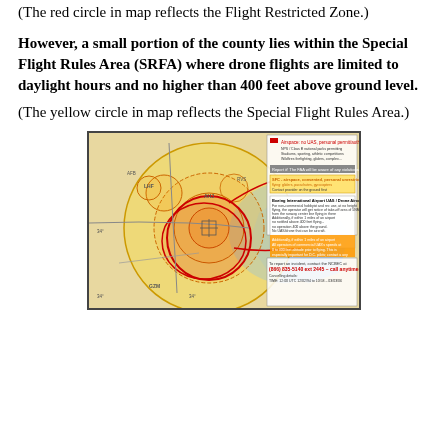(The red circle in map reflects the Flight Restricted Zone.)
However, a small portion of the county lies within the Special Flight Rules Area (SRFA) where drone flights are limited to daylight hours and no higher than 400 feet above ground level.
(The yellow circle in map reflects the Special Flight Rules Area.)
[Figure (map): Airspace map showing Flight Restricted Zone (red circle) and Special Flight Rules Area (yellow circle) near an international airport, with annotations about drone flight restrictions.]